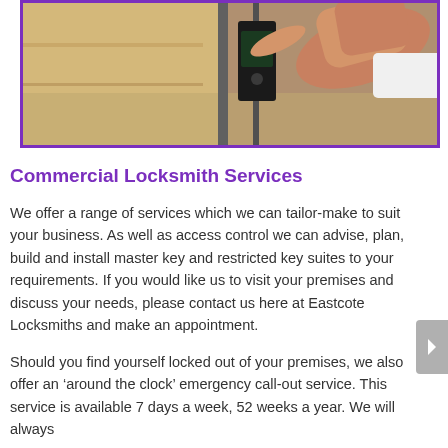[Figure (photo): A person's hand reaching toward or touching an access control device/keypad mounted on a glass door or panel. The image has a purple border around it.]
Commercial Locksmith Services
We offer a range of services which we can tailor-make to suit your business. As well as access control we can advise, plan, build and install master key and restricted key suites to your requirements. If you would like us to visit your premises and discuss your needs, please contact us here at Eastcote Locksmiths and make an appointment.
Should you find yourself locked out of your premises, we also offer an ‘around the clock’ emergency call-out service. This service is available 7 days a week, 52 weeks a year. We will always